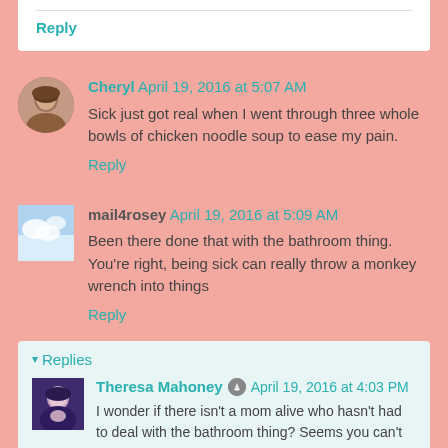Reply
Cheryl April 19, 2016 at 5:07 AM
Sick just got real when I went through three whole bowls of chicken noodle soup to ease my pain.
Reply
mail4rosey April 19, 2016 at 5:09 AM
Been there done that with the bathroom thing. You're right, being sick can really throw a monkey wrench into things
Reply
Replies
Theresa Mahoney April 19, 2016 at 4:03 PM
I wonder if there isn't a mom alive who hasn't had to deal with the bathroom thing? Seems you can't